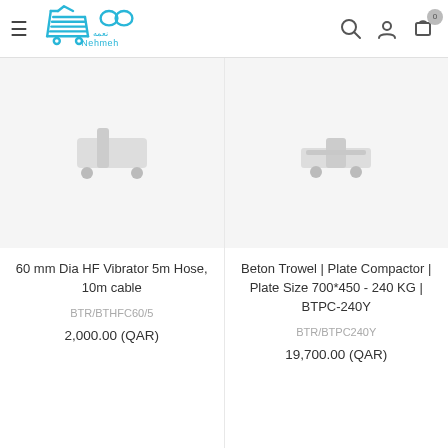Nehmeh
60 mm Dia HF Vibrator 5m Hose, 10m cable
BTR/BTHFC60/5
2,000.00 (QAR)
Beton Trowel | Plate Compactor | Plate Size 700*450 - 240 KG | BTPC-240Y
BTR/BTPC240Y
19,700.00 (QAR)